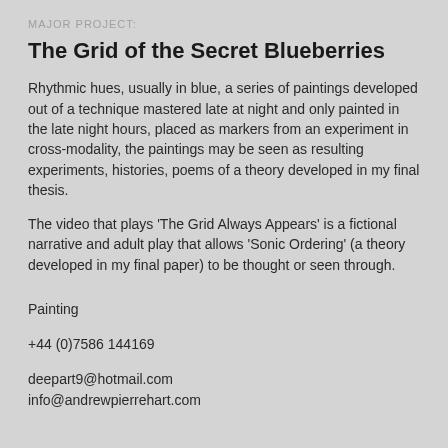MAJOR PROJECT:
The Grid of the Secret Blueberries
Rhythmic hues, usually in blue, a series of paintings developed out of a technique mastered late at night and only painted in the late night hours, placed as markers from an experiment in cross-modality, the paintings may be seen as resulting experiments, histories, poems of a theory developed in my final thesis.
The video that plays 'The Grid Always Appears' is a fictional narrative and adult play that allows 'Sonic Ordering' (a theory developed in my final paper) to be thought or seen through.
Painting
+44 (0)7586 144169
deepart9@hotmail.com
info@andrewpierrehart.com